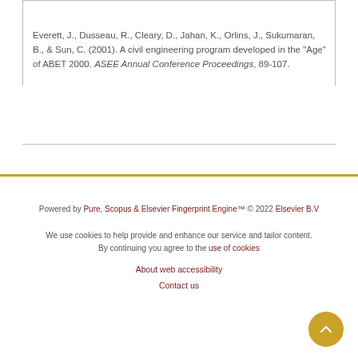Everett, J., Dusseau, R., Cleary, D., Jahan, K., Orlins, J., Sukumaran, B., & Sun, C. (2001). A civil engineering program developed in the "Age" of ABET 2000. ASEE Annual Conference Proceedings, 89-107.
Powered by Pure, Scopus & Elsevier Fingerprint Engine™ © 2022 Elsevier B.V

We use cookies to help provide and enhance our service and tailor content. By continuing you agree to the use of cookies

About web accessibility

Contact us